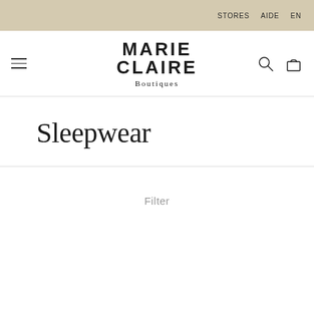STORES   AIDE   EN
MARIE CLAIRE Boutiques
Sleepwear
Filter